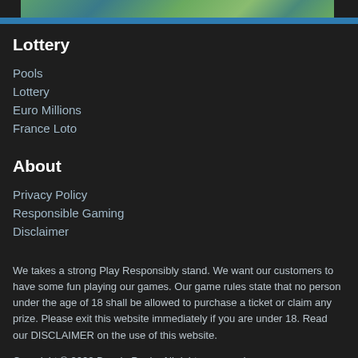[Figure (photo): Partial view of a nature/landscape photo strip at the top of the page]
Lottery
Pools
Lottery
Euro Millions
France Loto
About
Privacy Policy
Responsible Gaming
Disclaimer
We takes a strong Play Responsibly stand. We want our customers to have some fun playing our games. Our game rules state that no person under the age of 18 shall be allowed to purchase a ticket or claim any prize. Please exit this website immediately if you are under 18. Read our DISCLAIMER on the use of this website.
Copyright © 2002 Bosnia Pools. All rights reserved.